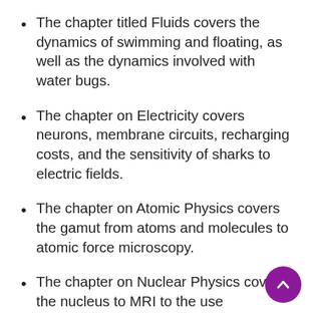The chapter titled Fluids covers the dynamics of swimming and floating, as well as the dynamics involved with water bugs.
The chapter on Electricity covers neurons, membrane circuits, recharging costs, and the sensitivity of sharks to electric fields.
The chapter on Atomic Physics covers the gamut from atoms and molecules to atomic force microscopy.
The chapter on Nuclear Physics covers the nucleus to MRI to the use